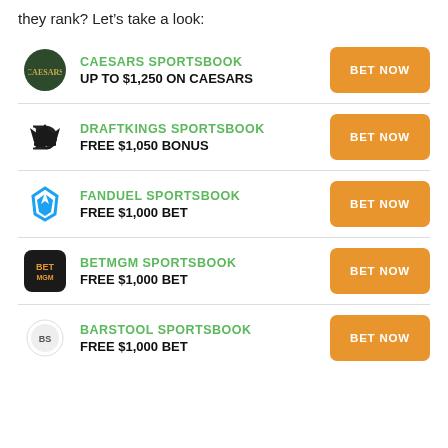they rank? Let's take a look:
CAESARS SPORTSBOOK — UP TO $1,250 ON CAESARS — BET NOW
DRAFTKINGS SPORTSBOOK — FREE $1,050 BONUS — BET NOW
FANDUEL SPORTSBOOK — FREE $1,000 BET — BET NOW
BETMGM SPORTSBOOK — FREE $1,000 BET — BET NOW
BARSTOOL SPORTSBOOK — FREE $1,000 BET — BET NOW